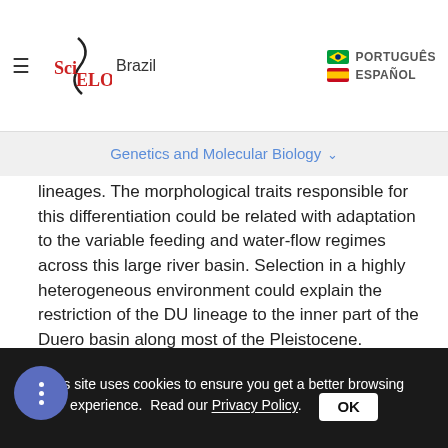SciELO Brazil — PORTUGUÊS / ESPAÑOL
Genetics and Molecular Biology
lineages. The morphological traits responsible for this differentiation could be related with adaptation to the variable feeding and water-flow regimes across this large river basin. Selection in a highly heterogeneous environment could explain the restriction of the DU lineage to the inner part of the Duero basin along most of the Pleistocene.
Acknowledgments
The authors wish to thank Emilio Roy, Juan Carlos Velasco and the Castilla-León Government for their
This site uses cookies to ensure you get a better browsing experience. Read our Privacy Policy. OK